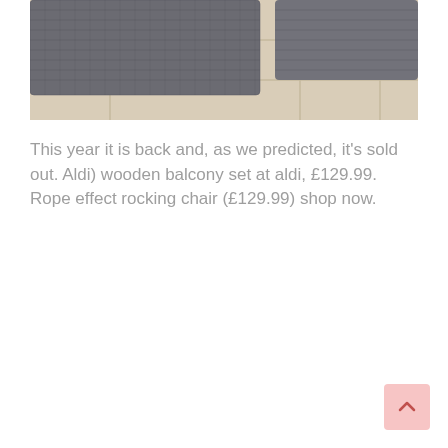[Figure (photo): Photo of grey wicker/rattan outdoor furniture pieces (ottomans or low tables) arranged on a stone tile patio surface, cropped at top.]
This year it is back and, as we predicted, it's sold out. Aldi) wooden balcony set at aldi, £129.99. Rope effect rocking chair (£129.99) shop now.